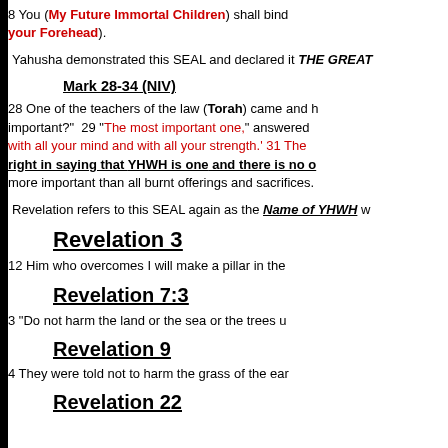8 You (My Future Immortal Children) shall bind [them as signs on your Forehead).
Yahusha demonstrated this SEAL and declared it THE GREAT
Mark 28-34 (NIV)
28 One of the teachers of the law (Torah) came and heard important? 29 "The most important one," answered with all your mind and with all your strength.' 31 The right in saying that YHWH is one and there is no o more important than all burnt offerings and sacrifices.
Revelation refers to this SEAL again as the Name of YHWH w
Revelation 3
12 Him who overcomes I will make a pillar in the
Revelation 7:3
3 "Do not harm the land or the sea or the trees u
Revelation 9
4 They were told not to harm the grass of the ear
Revelation 22